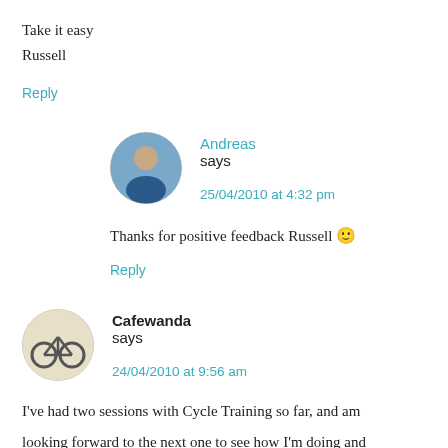Take it easy
Russell
Reply
Andreas says
25/04/2010 at 4:32 pm
Thanks for positive feedback Russell 🙂
Reply
Cafewanda says
24/04/2010 at 9:56 am
I've had two sessions with Cycle Training so far, and am looking forward to the next one to see how I'm doing and